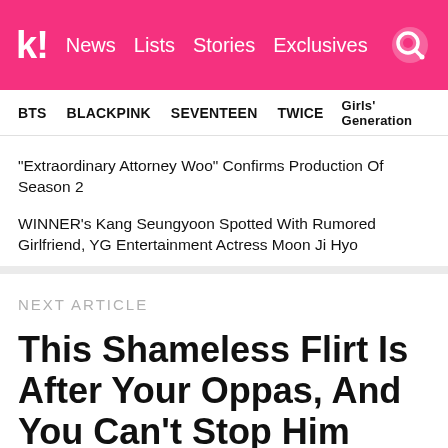k! News Lists Stories Exclusives
BTS BLACKPINK SEVENTEEN TWICE Girls' Generation
"Extraordinary Attorney Woo" Confirms Production Of Season 2
WINNER's Kang Seungyoon Spotted With Rumored Girlfriend, YG Entertainment Actress Moon Ji Hyo
NEXT ARTICLE
This Shameless Flirt Is After Your Oppas, And You Can't Stop Him